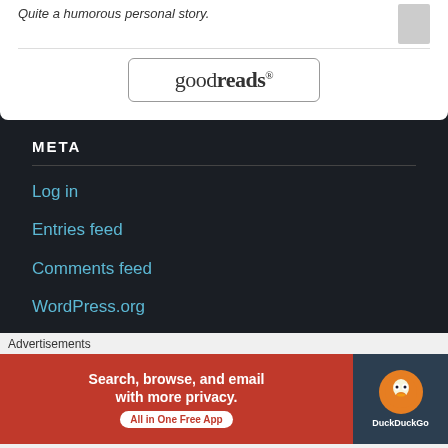Quite a humorous personal story.
[Figure (logo): Goodreads logo button with rounded rectangle border]
META
Log in
Entries feed
Comments feed
WordPress.org
[Figure (screenshot): NetworkedBlogs widget with blue header and Blog: input field]
Advertisements
[Figure (illustration): DuckDuckGo advertisement banner: Search, browse, and email with more privacy. All in One Free App]